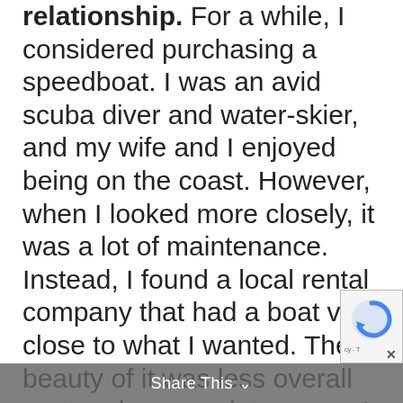relationship. For a while, I considered purchasing a speedboat. I was an avid scuba diver and water-skier, and my wife and I enjoyed being on the coast. However, when I looked more closely, it was a lot of maintenance. Instead, I found a local rental company that had a boat very close to what I wanted. The beauty of it was less overall cost and zero maintenance. I could use it when I desired, save money, and spend more time with friends and family. After
Share This